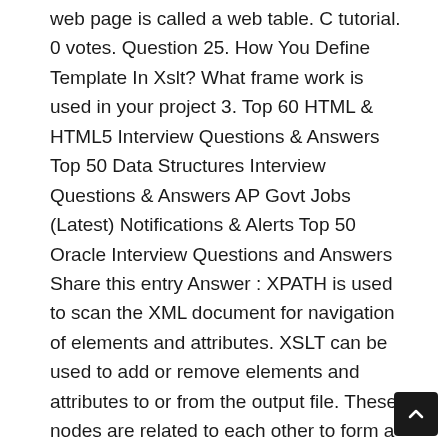web page is called a web table. C tutorial. 0 votes. Question 25. How You Define Template In Xslt? What frame work is used in your project 3. Top 60 HTML & HTML5 Interview Questions & Answers Top 50 Data Structures Interview Questions & Answers AP Govt Jobs (Latest) Notifications & Alerts Top 50 Oracle Interview Questions and Answers Share this entry Answer : XPATH is used to scan the XML document for navigation of elements and attributes. XSLT can be used to add or remove elements and attributes to or from the output file. These nodes are related to each other to form a tree like structure. XSLT stylesheet along with the XML source documents are the inputs to the XSLT processor. many people define Identity template in its own file like Identity.xsl but some people also preferred to keep in main XSL file as top template. How To Transform An Xml Document Into Another Xml Document? Click here to download Firebug. As we all know XPath is itself a language. Give its limitations and importance.? XPath specifies seven types of nodes that can be output of the